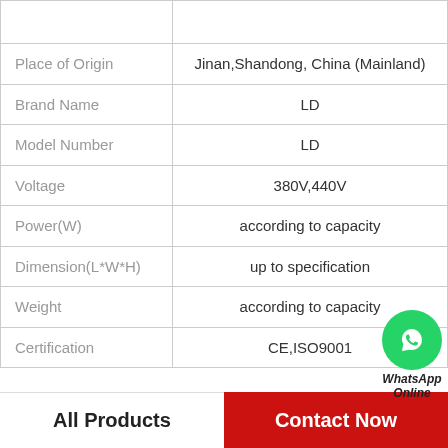| Property | Value |
| --- | --- |
| Place of Origin | Jinan,Shandong, China (Mainland) |
| Brand Name | LD |
| Model Number | LD |
| Voltage | 380V,440V |
| Power(W) | according to capacity |
| Dimension(L*W*H) | up to specification |
| Weight | according to capacity |
| Certification | CE,ISO9001 |
All Products
Contact Now